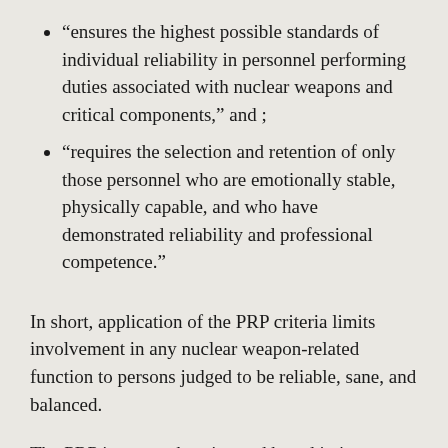“ensus the highest possible standards of individual reliability in personnel performing duties associated with nuclear weapons and critical components,” and ;
“requires the selection and retention of only those personnel who are emotionally stable, physically capable, and who have demonstrated reliability and professional competence.”
In short, application of the PRP criteria limits involvement in any nuclear weapon-related function to persons judged to be reliable, sane, and balanced.
The PRP is comprehensive and broad in its